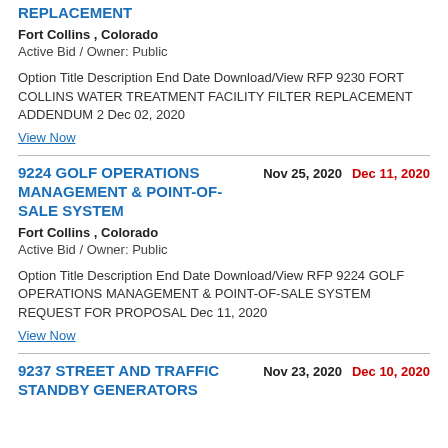REPLACEMENT
Fort Collins , Colorado
Active Bid / Owner: Public
Option Title Description End Date Download/View RFP 9230 FORT COLLINS WATER TREATMENT FACILITY FILTER REPLACEMENT ADDENDUM 2 Dec 02, 2020
View Now
9224 GOLF OPERATIONS MANAGEMENT & POINT-OF-SALE SYSTEM
Nov 25, 2020
Dec 11, 2020
Fort Collins , Colorado
Active Bid / Owner: Public
Option Title Description End Date Download/View RFP 9224 GOLF OPERATIONS MANAGEMENT & POINT-OF-SALE SYSTEM REQUEST FOR PROPOSAL Dec 11, 2020
View Now
9237 STREET AND TRAFFIC STANDBY GENERATORS
Nov 23, 2020
Dec 10, 2020